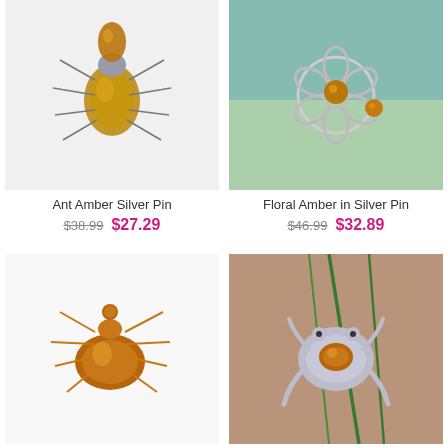[Figure (photo): Silver ant brooch pin with amber gemstones on white background]
Ant Amber Silver Pin
$38.99  $27.29
[Figure (photo): Floral silver pin with amber stones on green fabric background]
Floral Amber in Silver Pin
$46.99  $32.89
[Figure (photo): Gold-tone ant brooch with large amber body on white background]
[Figure (photo): Silver frog brooch with amber stone on terracotta background with green stems]